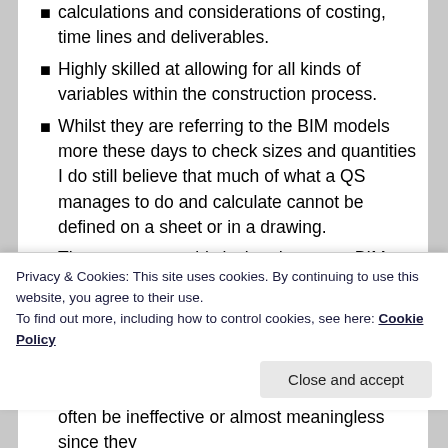calculations and considerations of costing, time lines and deliverables.
Highly skilled at allowing for all kinds of variables within the construction process.
Whilst they are referring to the BIM models more these days to check sizes and quantities I do still believe that much of what a QS manages to do and calculate cannot be defined on a sheet or in a drawing.
They are reasonably isolated on most BIM projects and their specific needs are largely unquantified within the industry in terms of general industry understanding of exactly what they need.
Creating data for QS's in terms of costing can often be ineffective or almost meaningless since they
Privacy & Cookies: This site uses cookies. By continuing to use this website, you agree to their use.
To find out more, including how to control cookies, see here: Cookie Policy